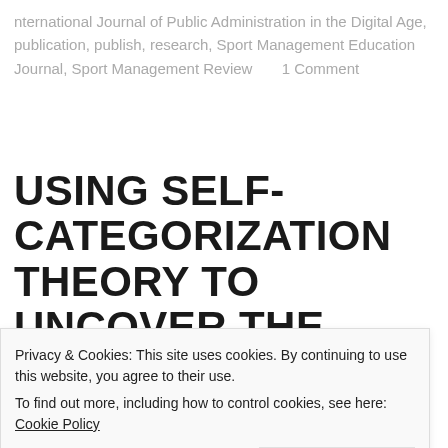nternational Journal of Public Administration in the Digital Age, publication, publish, research, Sport Management Education Journal, Sport Management Review       1 Comment
USING SELF-CATEGORIZATION THEORY TO UNCOVER THE FRAMING OF THE 2015 RUGBY WORLD
Privacy & Cookies: This site uses cookies. By continuing to use this website, you agree to their use.
To find out more, including how to control cookies, see here: Cookie Policy